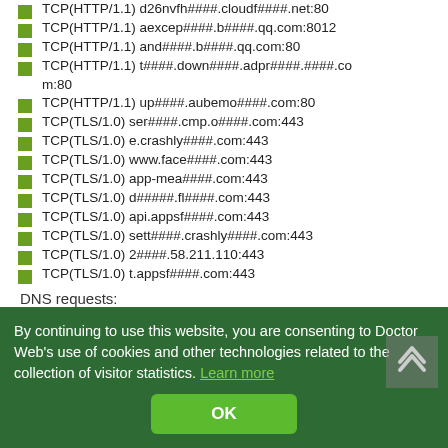TCP(HTTP/1.1) d26nvfh####.cloudf####.net:80
TCP(HTTP/1.1) aexcep####.b####.qq.com:8012
TCP(HTTP/1.1) and####.b####.qq.com:80
TCP(HTTP/1.1) t####.down####.adpr####.####.com:80
TCP(HTTP/1.1) up####.aubemo####.com:80
TCP(TLS/1.0) ser####.cmp.o####.com:443
TCP(TLS/1.0) e.crashly####.com:443
TCP(TLS/1.0) www.face####.com:443
TCP(TLS/1.0) app-mea####.com:443
TCP(TLS/1.0) d#####.fl####.com:443
TCP(TLS/1.0) api.appsf####.com:443
TCP(TLS/1.0) sett####.crashly####.com:443
TCP(TLS/1.0) 2####.58.211.110:443
TCP(TLS/1.0) t.appsf####.com:443
DNS requests:
By continuing to use this website, you are consenting to Doctor Web's use of cookies and other technologies related to the collection of visitor statistics. Learn more
OK